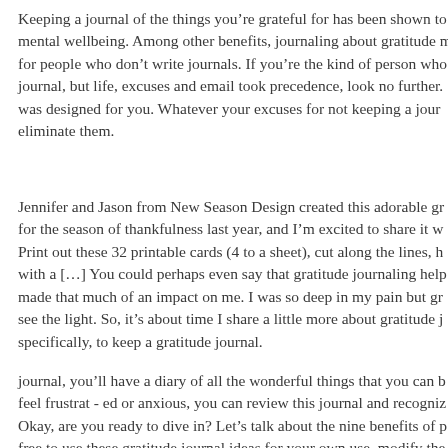Keeping a journal of the things you're grateful for has been shown to mental wellbeing. Among other benefits, journaling about gratitude m for people who don't write journals. If you're the kind of person who journal, but life, excuses and email took precedence, look no further. was designed for you. Whatever your excuses for not keeping a jour eliminate them.
Jennifer and Jason from New Season Design created this adorable gr for the season of thankfulness last year, and I'm excited to share it w Print out these 32 printable cards (4 to a sheet), cut along the lines, h with a […] You could perhaps even say that gratitude journaling help made that much of an impact on me. I was so deep in my pain but gr see the light. So, it's about time I share a little more about gratitude j specifically, to keep a gratitude journal.
journal, you'll have a diary of all the wonderful things that you can b feel frustrat - ed or anxious, you can review this journal and recogniz Okay, are you ready to dive in? Let's talk about the nine benefits of p free to use these gratitude journal ideas for your own use, modify the